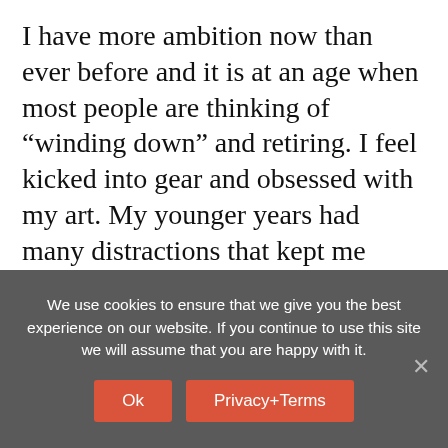I have more ambition now than ever before and it is at an age when most people are thinking of “winding down” and retiring. I feel kicked into gear and obsessed with my art. My younger years had many distractions that kept me from my art and I put it on the back burner for a very long time. The internet has changed my life. I have received so much support and positive feedback. I have taken risks. I've reached out of my comfort zone and been rewarded. I am at a place now that is very exciting. I have a much larger vision of
We use cookies to ensure that we give you the best experience on our website. If you continue to use this site we will assume that you are happy with it.
Ok
Privacy+Terms